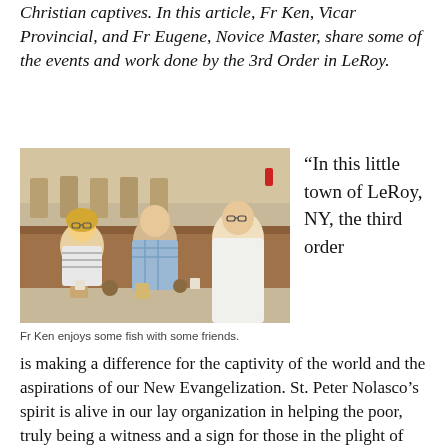Christian captives. In this article, Fr Ken, Vicar Provincial, and Fr Eugene, Novice Master, share some of the events and work done by the 3rd Order in LeRoy.
[Figure (photo): Three people sitting at a long wooden table in a hall, sharing a meal. A woman with blonde hair on the left, a man in a plaid shirt in the middle, and a person in white religious robes on the right.]
Fr Ken enjoys some fish with some friends.
“In this little town of LeRoy, NY, the third order is making a difference for the captivity of the world and the aspirations of our New Evangelization. St. Peter Nolasco’s spirit is alive in our lay organization in helping the poor, truly being a witness and a sign for those in the plight of suffering and abandonment.